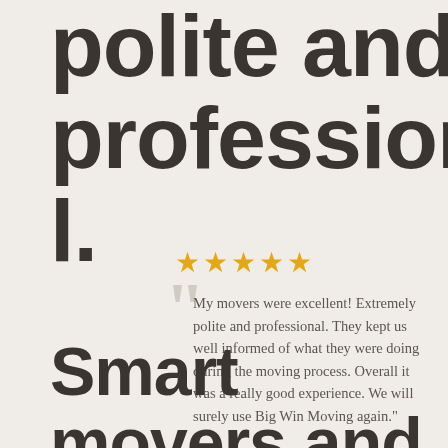polite and professional.
★★★★★
My movers were excellent! Extremely polite and professional. They kept us well informed of what they were doing during the moving process. Overall it was a really good experience. We will surely use Big Win Moving again."
- Bob Walters
Smart movers and knew a lot of tricks